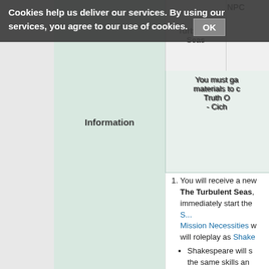Cookies help us deliver our services. By using our services, you agree to our use of cookies. OK
|  |  | Turbulent Seas | NPC |
| --- | --- | --- | --- |
| [image] | Information | You must ga... materials to c... Truth O... - Cich... |  |
|  | 1. You will receive a new... The Turbulent Seas, ... immediately start the S... Mission Necessities w... will roleplay as Shake... |  |  |
Shakespeare will s... the same skills and... equipment he did i... previous roleplay m...
The mission is spli... parts. Shakespear... for all...